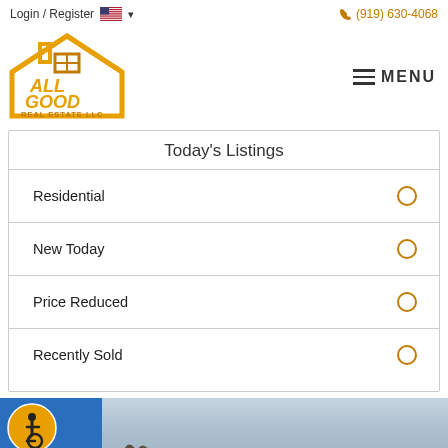Login / Register   🇺🇸 ∨   (919) 630-4068
[Figure (logo): All Good Real Estate LLC logo — golden house outline with windows and text]
≡ MENU
Today's Listings
Residential
New Today
Price Reduced
Recently Sold
[Figure (photo): Bottom strip showing a blue-tinted outdoor scene with accessibility icon badge on left, and bare winter trees silhouette against overcast sky on right]